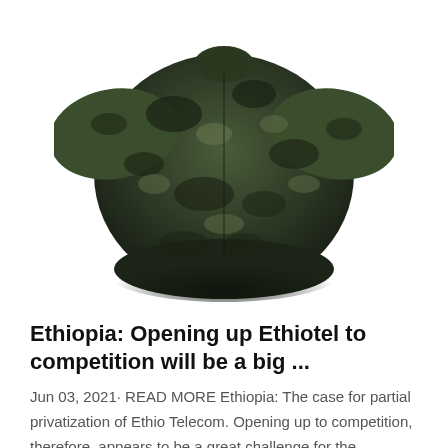[Figure (photo): A camouflage-patterned garment (cape or poncho) in dark green and black tones, displayed against a white background.]
Ethiopia: Opening up Ethiotel to competition will be a big ...
Jun 03, 2021· READ MORE Ethiopia: The case for partial privatization of Ethio Telecom. Opening up to competition, therefore, appears to be a great challenge for the government operator. And the